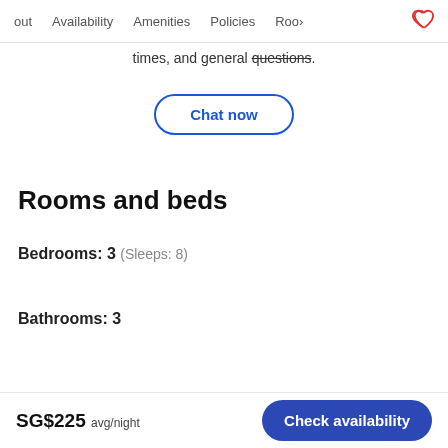out   Availability   Amenities   Policies   Roo>   ♡
times, and general questions.
Chat now
Rooms and beds
Bedrooms: 3  (Sleeps: 8)
Bathrooms: 3
SG$225 avg/night
Check availability